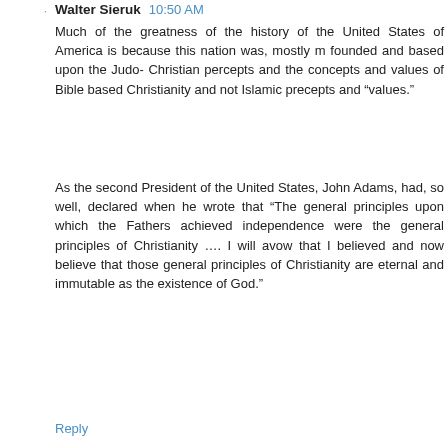Walter Sieruk  10:50 AM
Much of the greatness of the history of the United States of America is because this nation was, mostly m founded and based upon the Judo- Christian percepts and the concepts and values of Bible based Christianity and not Islamic precepts and “values.”
As the second President of the United States, John Adams, had, so well, declared when he wrote that “The general principles upon which the Fathers achieved independence were the general principles of Christianity …. I will avow that I believed and now believe that those general principles of Christianity are eternal and immutable as the existence of God.”
Reply